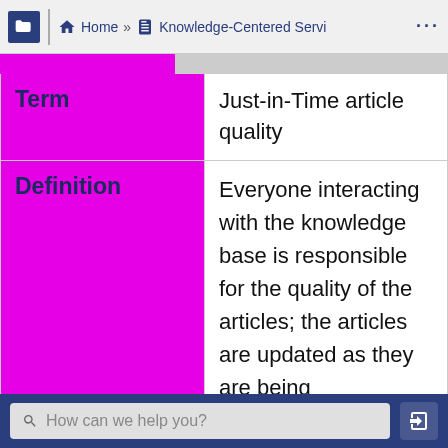Home » Knowledge-Centered Servi ...
| Term | Just-in-Time article quality |
| --- | --- |
| Definition | Everyone interacting with the knowledge base is responsible for the quality of the articles; the articles are updated as they are being |
How can we help you?